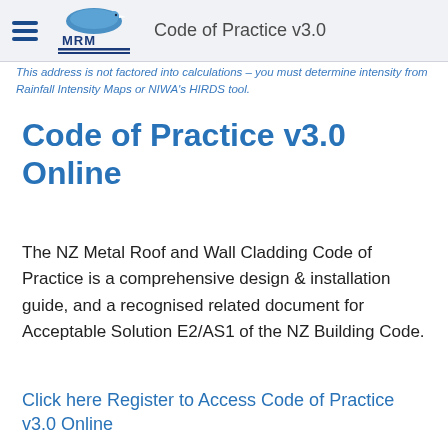Code of Practice v3.0
This address is not factored into calculations – you must determine intensity from Rainfall Intensity Maps or NIWA's HIRDS tool.
Code of Practice v3.0 Online
The NZ Metal Roof and Wall Cladding Code of Practice is a comprehensive design & installation guide, and a recognised related document for Acceptable Solution E2/AS1 of the NZ Building Code.
Click here Register to Access Code of Practice v3.0 Online